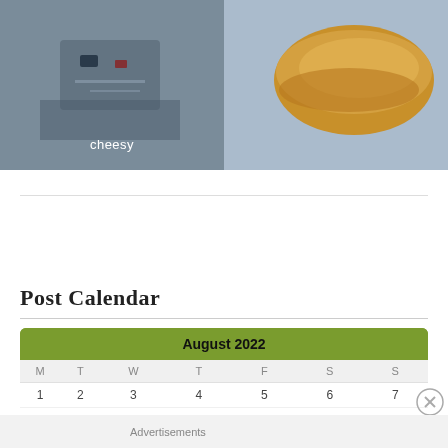[Figure (photo): Left photo showing electronic components/circuit board with text overlay 'cheesy']
[Figure (photo): Right photo showing a baked bread roll or hot dog bun on a blue surface]
Post Calendar
| M | T | W | T | F | S | S |
| --- | --- | --- | --- | --- | --- | --- |
| 1 | 2 | 3 | 4 | 5 | 6 | 7 |
| 8 | 9 | 10 | 11 | 12 | 13 | 14 |
Advertisements